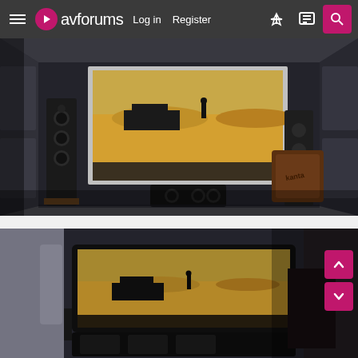avforums - Log in | Register
[Figure (photo): Home theater room with large projection screen showing a desert scene from what appears to be Mad Max Fury Road. Tall floorstanding speakers on left and right sides, a center channel speaker in front of the screen, and a wooden subwoofer cabinet on the right. Dark acoustic panels on walls.]
[Figure (photo): Home theater room from a different angle showing a large flat panel display mounted on the wall showing the same desert movie scene. Acoustic panels on left wall. Pink up/down navigation buttons visible on the right side. Speaker equipment visible at bottom.]